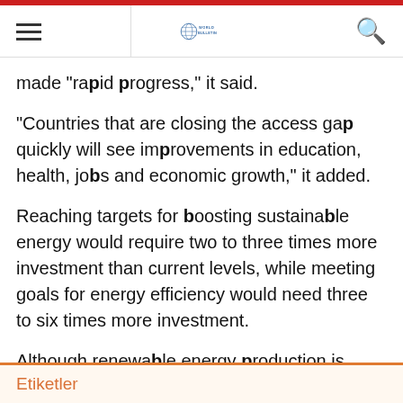World Bulletin
made "rapid progress," it said.
"Countries that are closing the access gap quickly will see improvements in education, health, jobs and economic growth," it added.
Reaching targets for boosting sustainable energy would require two to three times more investment than current levels, while meeting goals for energy efficiency would need three to six times more investment.
Although renewable energy production is rapidly growing, wind and solar energy currently account for only 4 percent of consumption worldwide.
Etiketler